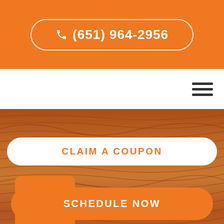(651) 964-2956
[Figure (screenshot): Wood texture background image spanning middle portion of page]
CLAIM A COUPON
[Figure (other): Back to top arrow button, orange square with upward chevron]
SCHEDULE NOW